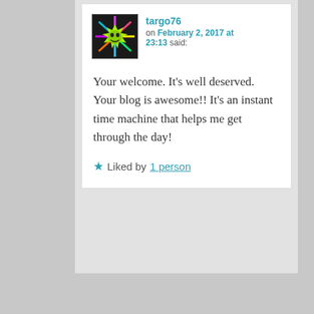targo76 on February 2, 2017 at 23:13 said:
Your welcome. It's well deserved. Your blog is awesome!! It's an instant time machine that helps me get through the day!
★ Liked by 1 person
[Figure (photo): Avatar image showing a green spiky sun-like character on black background with colorful rays]
[Figure (photo): Avatar image showing text 'TOR TYETH, JEDI SURVIVOR' with a green lightsaber glow on dark background]
For Tyeth on October 24, 2017 at 14:55 said: